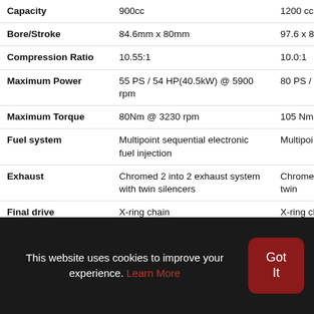|  | 900cc | 1200 cc |
| --- | --- | --- |
| Capacity | 900cc | 1200 cc |
| Bore/Stroke | 84.6mm x 80mm | 97.6 x 80 |
| Compression Ratio | 10.55:1 | 10.0:1 |
| Maximum Power | 55 PS / 54 HP(40.5kW) @ 5900 rpm | 80 PS / 7 rpm |
| Maximum Torque | 80Nm @ 3230 rpm | 105 Nm @ |
| Fuel system | Multipoint sequential electronic fuel injection | Multipoi fuel inje |
| Exhaust | Chromed 2 into 2 exhaust system with twin silencers | Chromed with twin |
| Final drive | X-ring chain | X-ring ch |
| Clutch | Wet, multi-plate assist clutch, cable operated | Wet, mu cable op |
This website uses cookies to improve your experience. Learn More